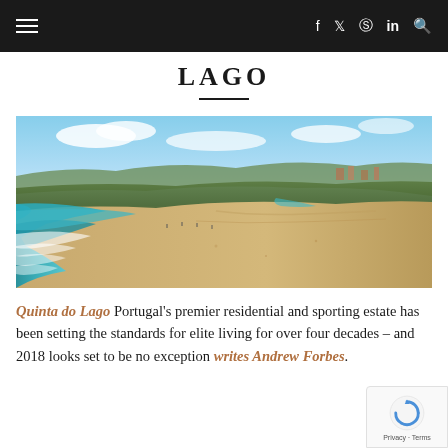≡  f  𝕏  ⊙  in  🔍
LAGO
[Figure (photo): Aerial view of a long sandy beach coastline with turquoise ocean waves on the left, sandy shore, green vegetation and residential buildings in the background, under a blue sky with white clouds — Quinta do Lago, Algarve, Portugal.]
Quinta do Lago Portugal's premier residential and sporting estate has been setting the standards for elite living for over four decades – and 2018 looks set to be no exception writes Andrew Forbes.